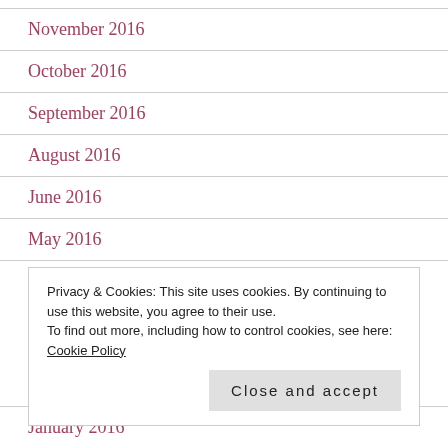November 2016
October 2016
September 2016
August 2016
June 2016
May 2016
April 2016
Privacy & Cookies: This site uses cookies. By continuing to use this website, you agree to their use. To find out more, including how to control cookies, see here: Cookie Policy
January 2016